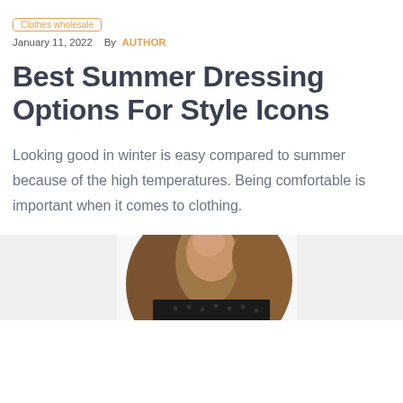Clothes wholesale
January 11, 2022   By  AUTHOR
Best Summer Dressing Options For Style Icons
Looking good in winter is easy compared to summer because of the high temperatures. Being comfortable is important when it comes to clothing.
[Figure (photo): Partial photo of a woman with long wavy brown hair wearing a dark top, cropped at shoulder level against a white background]